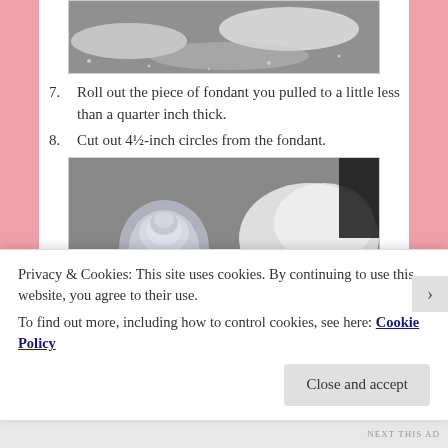[Figure (photo): Photo of dough on a floured surface from above]
7. Roll out the piece of fondant you pulled to a little less than a quarter inch thick.
8. Cut out 4½-inch circles from the fondant.
[Figure (photo): Photo of a round fondant circle cut out on a floured surface, with a round cutter and chocolate piece nearby, and a ball of fondant in the background]
Privacy & Cookies: This site uses cookies. By continuing to use this website, you agree to their use.
To find out more, including how to control cookies, see here: Cookie Policy
Close and accept